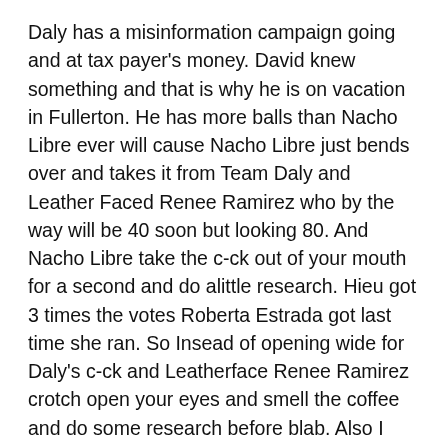Daly has a misinformation campaign going and at tax payer's money. David knew something and that is why he is on vacation in Fullerton. He has more balls than Nacho Libre ever will cause Nacho Libre just bends over and takes it from Team Daly and Leather Faced Renee Ramirez who by the way will be 40 soon but looking 80. And Nacho Libre take the c-ck out of your mouth for a second and do alittle research. Hieu got 3 times the votes Roberta Estrada got last time she ran. So Insead of opening wide for Daly's c-ck and Leatherface Renee Ramirez crotch open your eyes and smell the coffee and do some research before blab. Also I have never heard of a pussy Marine in my life so if you feel that David C. has no balls tell him in his face. I'm sure he will promptly let you know otherwise. The more u know attitude. Patience.